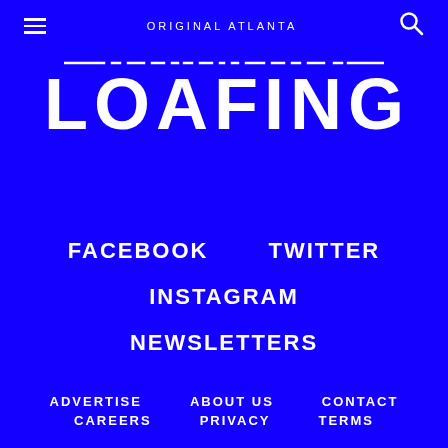ORIGINAL ATLANTA
LOAFING
FACEBOOK
TWITTER
INSTAGRAM
NEWSLETTERS
ADVERTISE
ABOUT US
CONTACT
CAREERS
PRIVACY
TERMS